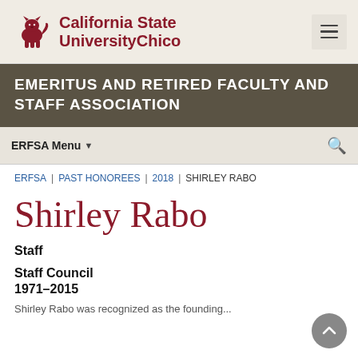[Figure (logo): California State University Chico logo with wildcat mascot and red text]
EMERITUS AND RETIRED FACULTY AND STAFF ASSOCIATION
ERFSA Menu
ERFSA | PAST HONOREES | 2018 | SHIRLEY RABO
Shirley Rabo
Staff
Staff Council
1971–2015